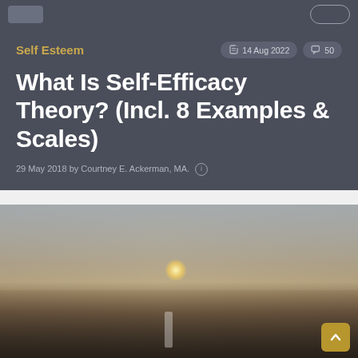Self Esteem
14 Aug 2022  50
What Is Self-Efficacy Theory? (Incl. 8 Examples & Scales)
29 May 2018 by Courtney E. Ackerman, MA.
[Figure (photo): A person lying on a road at dusk/dawn with outstretched arms, with hills and a glowing sun in the background]